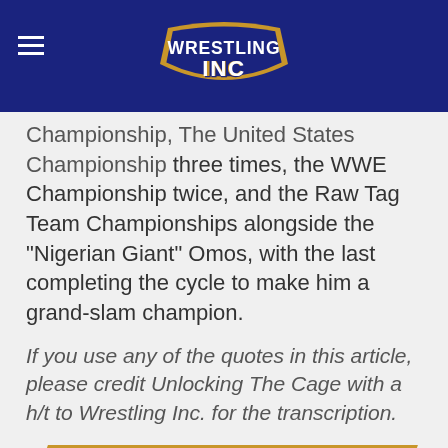Wrestling Inc
Championship, The United States Championship three times, the WWE Championship twice, and the Raw Tag Team Championships alongside the "Nigerian Giant" Omos, with the last completing the cycle to make him a grand-slam champion.
If you use any of the quotes in this article, please credit Unlocking The Cage with a h/t to Wrestling Inc. for the transcription.
8 COMMENTS ▲
RECOMMENDED